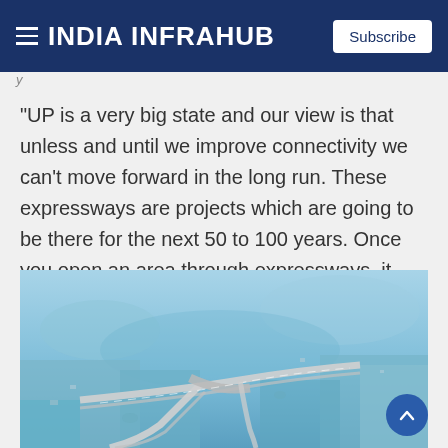INDIA INFRAHUB
“UP is a very big state and our view is that unless and until we improve connectivity we can’t move forward in the long run. These expressways are projects which are going to be there for the next 50 to 100 years. Once you open an area through expressways, it leads to a lot of qualitative change in the environment.”
[Figure (photo): Aerial photograph of an expressway interchange in Uttar Pradesh, India, showing multi-lane highway interchange with surrounding rural landscape and blue sky haze.]